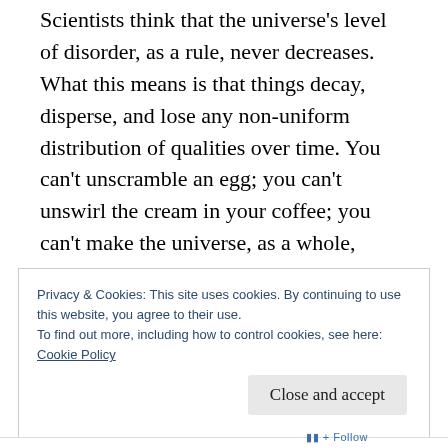Scientists think that the universe's level of disorder, as a rule, never decreases. What this means is that things decay, disperse, and lose any non-uniform distribution of qualities over time. You can't unscramble an egg; you can't unswirl the cream in your coffee; you can't make the universe, as a whole, warm up, or even stay the same temp. This is the second law of thermodynamics: disorder (entropy) never decreases.
Privacy & Cookies: This site uses cookies. By continuing to use this website, you agree to their use.
To find out more, including how to control cookies, see here:
Cookie Policy